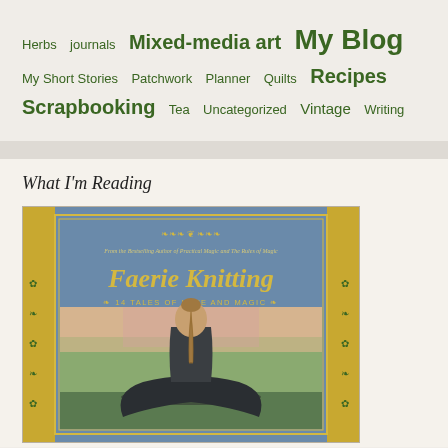Herbs  journals  Mixed-media art  My Blog  My Short Stories  Patchwork  Planner  Quilts  Recipes  Scrapbooking  Tea  Uncategorized  Vintage  Writing
What I'm Reading
[Figure (photo): Book cover of 'Faerie Knitting: 14 Tales of Love and Magic' showing a woman with a braided bun seen from behind, wearing a dark knitted shawl, with a green and blue ornate border. Subtitle reads '14 TALES OF LOVE AND MAGIC'. Text at top: 'From the Bestselling Author of Practical Magic and The Rules of Magic'.]